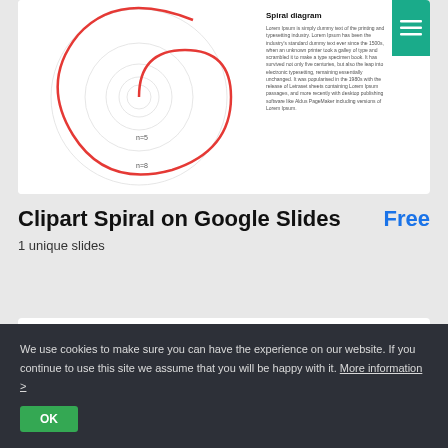[Figure (illustration): Spiral diagram (Fibonacci/golden spiral) with concentric circles and a red spiral line, shown inside a white card. Labels 'n=5' and 'n=8' visible near center.]
Spiral diagram
Lorem Ipsum is simply dummy text of the printing and typesetting industry. Lorem Ipsum has been the industry's standard dummy text ever since the 1500s, when an unknown printer took a galley of type and scrambled it to make a type specimen book. It has survived not only five centuries, but also the leap into electronic typesetting, remaining essentially unchanged. It was popularised in the 1960s with the release of Letraset sheets containing Lorem Ipsum passages, and more recently with desktop publishing software like Aldus PageMaker including versions of Lorem Ipsum.
Clipart Spiral on Google Slides
Free
1 unique slides
[Figure (illustration): Second card showing a partial spiral diagram with a yellow/orange shape visible at the bottom left, and a G logo (gold background) in the top right corner with 'Template by' text.]
Spiral diagram
Lorem Ipsum is simply dummy text of the printing and typesetting industry...
We use cookies to make sure you can have the experience on our website. If you continue to use this site we assume that you will be happy with it. More information >
OK